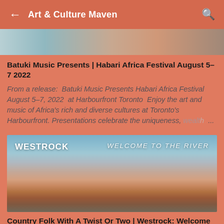Art & Culture Maven
[Figure (photo): Partial thumbnail image of a colorful scene at top of feed]
Batuki Music Presents | Habari Africa Festival August 5–7 2022
From a release:  Batuki Music Presents Habari Africa Festival August 5–7, 2022  at Harbourfront Toronto  Enjoy the art and music of Africa's rich and diverse cultures at Toronto's Harbourfront. Presentations celebrate the uniqueness, wealth ...
[Figure (photo): Album cover for Westrock Welcome to the River – sky and river gradient landscape with artist name and album title overlaid in white text]
Country Folk With A Twist Or Two | Westrock: Welcome to the